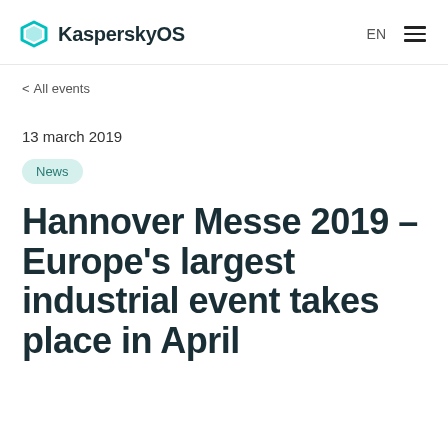KasperskyOS EN
< All events
13 march 2019
News
Hannover Messe 2019 – Europe's largest industrial event takes place in April